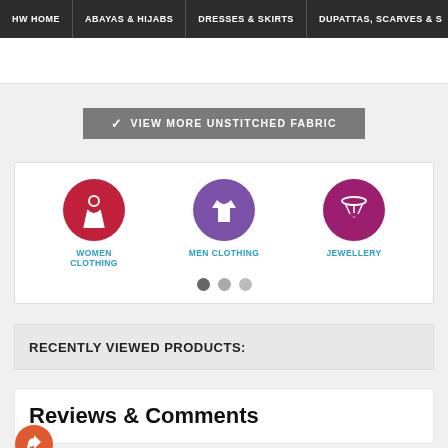HW HOME | ABAYAS & HIJABS | DRESSES & SKIRTS | DUPATTAS, SCARVES & S
VIEW MORE UNSTITCHED FABRIC
[Figure (infographic): Category icons carousel with three items: WOMEN CLOTHING (red circle with dress icon), MEN CLOTHING (purple circle with shirt icon), JEWELLERY (dark pink circle with necklace/heart icon), and three navigation dots below.]
RECENTLY VIEWED PRODUCTS:
Reviews & Comments